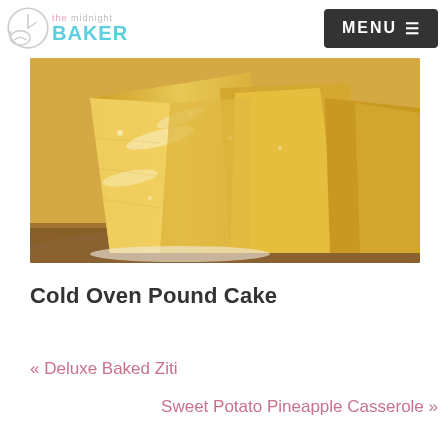the midnight BAKER | MENU
[Figure (photo): Close-up photo of slices of pound cake on a plate, showing golden-yellow sponge texture with powdered sugar dusting]
Cold Oven Pound Cake
« Deluxe Baked Ziti
Sweet Potato Pineapple Casserole »